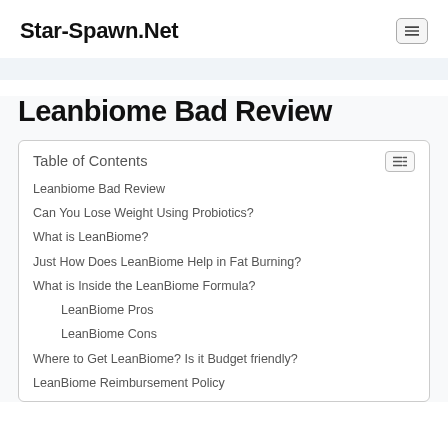Star-Spawn.Net
Leanbiome Bad Review
| Table of Contents |
| --- |
| Leanbiome Bad Review |
| Can You Lose Weight Using Probiotics? |
| What is LeanBiome? |
| Just How Does LeanBiome Help in Fat Burning? |
| What is Inside the LeanBiome Formula? |
| LeanBiome Pros |
| LeanBiome Cons |
| Where to Get LeanBiome? Is it Budget friendly? |
| LeanBiome Reimbursement Policy |